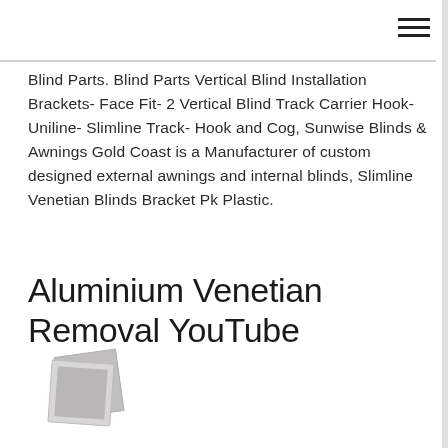Blind Parts. Blind Parts Vertical Blind Installation Brackets- Face Fit- 2 Vertical Blind Track Carrier Hook- Uniline- Slimline Track- Hook and Cog, Sunwise Blinds & Awnings Gold Coast is a Manufacturer of custom designed external awnings and internal blinds, Slimline Venetian Blinds Bracket Pk Plastic.
Aluminium Venetian Removal YouTube
[Figure (photo): Partial photo placeholder icon showing overlapping polaroid-style photo frames in gray tones]